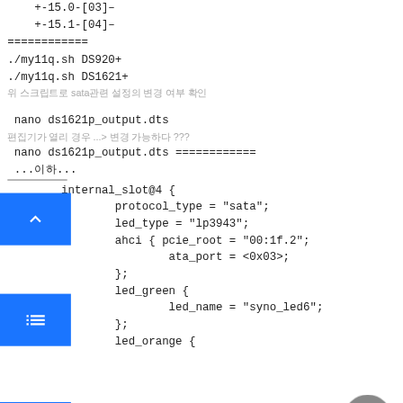+-15.0-[03]–
+-15.1-[04]–
============
./my11q.sh DS920+
./my11q.sh DS1621+
위 스크립트로 sata관련 설정의 변경 여부 확인
nano ds1621p_output.dts
편집기가 열리 경우 ...> 변경 가능하다 ???
nano ds1621p_output.dts ============
...이하...
internal_slot@4 {
        protocol_type = "sata";
        led_type = "lp3943";
        ahci { pcie_root = "00:1f.2";
                ata_port = <0x03>;
        };
        led_green {
                led_name = "syno_led6";
        };
        led_orange {